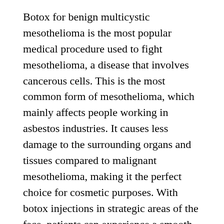Botox for benign multicystic mesothelioma is the most popular medical procedure used to fight mesothelioma, a disease that involves cancerous cells. This is the most common form of mesothelioma, which mainly affects people working in asbestos industries. It causes less damage to the surrounding organs and tissues compared to malignant mesothelioma, making it the perfect choice for cosmetic purposes. With botox injections in strategic areas of the face, patients can experience a smooth appearance and minimized facial spasms.
Although Botox treatments have proven to be effective, they should only be considered as last resort due to their numerous side effects. In cases where no other procedures can effectively cure your affliction, botox treatment may be the only option left. Prior to undergoing this procedure, you must discuss all possible risks associated with the said treatment. Take time to